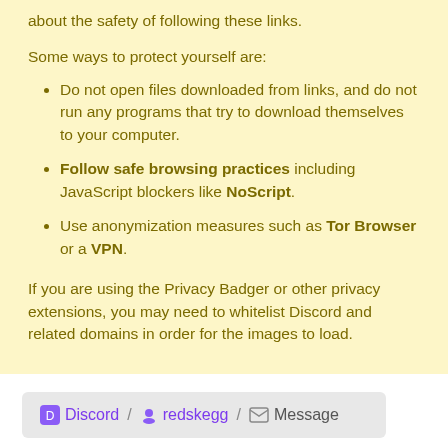about the safety of following these links.
Some ways to protect yourself are:
Do not open files downloaded from links, and do not run any programs that try to download themselves to your computer.
Follow safe browsing practices including JavaScript blockers like NoScript.
Use anonymization measures such as Tor Browser or a VPN.
If you are using the Privacy Badger or other privacy extensions, you may need to whitelist Discord and related domains in order for the images to load.
Discord / redskegg / Message